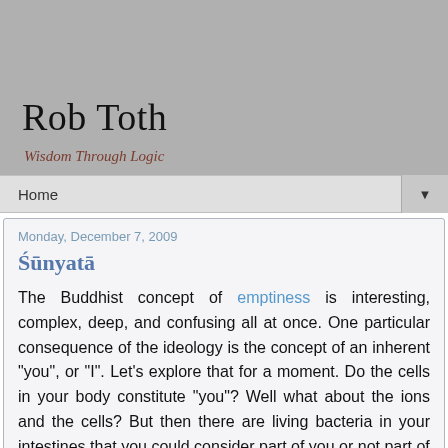Rob Toth
Wisdom Through Logic
Home
Monday, December 7, 2009
Śūnyatā
The Buddhist concept of emptiness is interesting, complex, deep, and confusing all at once.  One particular consequence of the ideology is the concept of an inherent "you", or "I".  Let's explore that for a moment.  Do the cells in your body constitute "you"?  Well what about the ions and the cells?  But then there are living bacteria in your intestines that you could consider part of you or not part of